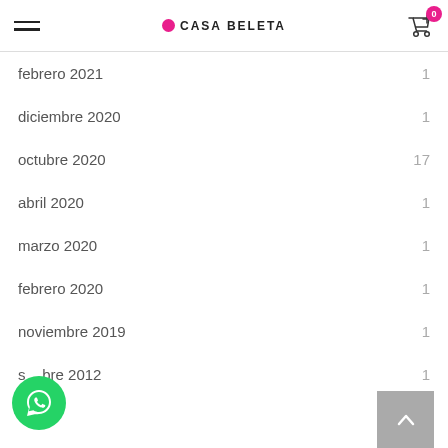Casa Beleta — navigation header with hamburger menu and cart
febrero 2021  1
diciembre 2020  1
octubre 2020  17
abril 2020  1
marzo 2020  1
febrero 2020  1
noviembre 2019  1
septiembre 2012  1